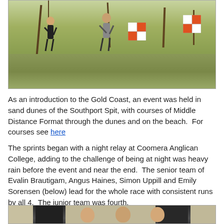[Figure (photo): Two runners navigating through sparse trees and dry grassland with orange and white orienteering control flags visible in the background.]
As an introduction to the Gold Coast, an event was held in sand dunes of the Southport Spit, with courses of Middle Distance Format through the dunes and on the beach.  For courses see here
The sprints began with a night relay at Coomera Anglican College, adding to the challenge of being at night was heavy rain before the event and near the end.  The senior team of Evalin Brautigam, Angus Haines, Simon Uppill and Emily Sorensen (below) lead for the whole race with consistent runs by all 4.  The junior team was fourth.
[Figure (photo): Group photo of four team members (Evalin Brautigam, Angus Haines, Simon Uppill and Emily Sorensen) indoors, partially visible at bottom of page.]